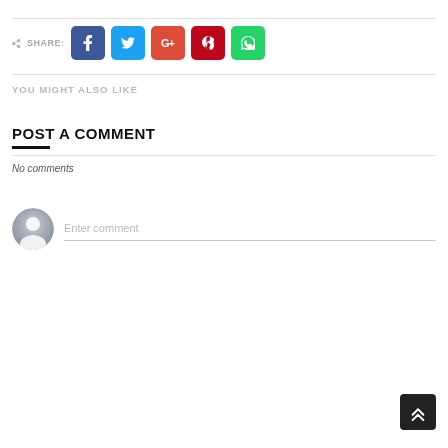SHARE: [Facebook] [Twitter] [Google+] [Pinterest] [WhatsApp]
YOU MIGHT ALSO LIKE
POST A COMMENT
No comments
Enter comment
[Figure (other): Scroll to top button with double chevron up arrow, dark background]